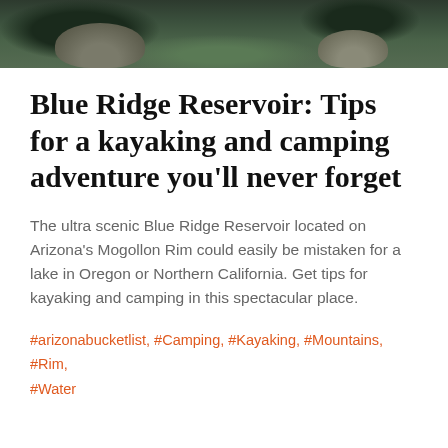[Figure (photo): Outdoor nature photo showing rocks and dense green forest/vegetation, used as a banner image at the top of the page]
Blue Ridge Reservoir: Tips for a kayaking and camping adventure you'll never forget
The ultra scenic Blue Ridge Reservoir located on Arizona's Mogollon Rim could easily be mistaken for a lake in Oregon or Northern California. Get tips for kayaking and camping in this spectacular place.
#arizonabucketlist, #Camping, #Kayaking, #Mountains, #Rim, #Water